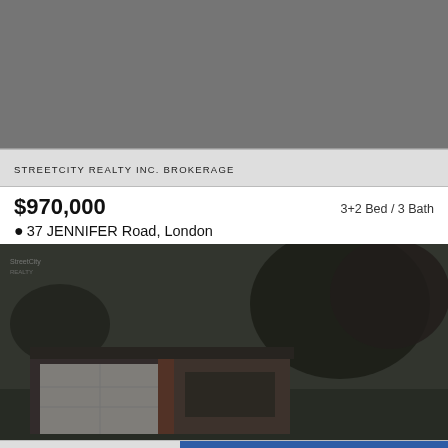[Figure (photo): Top grey placeholder image block representing a real estate listing thumbnail or header image]
STREETCITY REALTY INC. BROKERAGE
$970,000
3+2 Bed / 3 Bath
37 JENNIFER Road, London
[Figure (photo): Exterior photo of a residential bungalow with attached double garage, brick facade, and large trees, darkened/dimmed overlay]
ROYAL LEPAGE TRILAND PR...
Message us on Facebook!